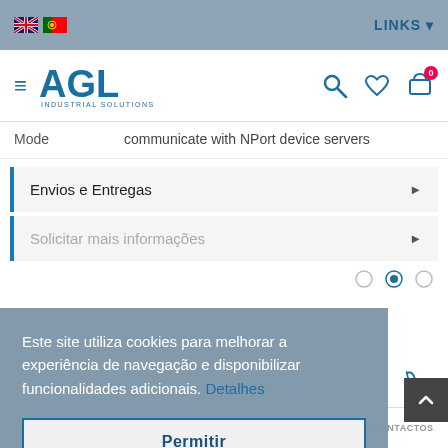LINKS
[Figure (logo): AGL Industrial Solutions logo with hamburger menu icon]
| Mode |  |
| --- | --- |
| Mode | communicate with NPort device servers |
Envios e Entregas
Solicitar mais informações
Este site utiliza cookies para melhorar a experiência de navegação e disponibilizar funcionalidades adicionais. Detalhes
Permitir
HOME   PRODUTOS   FAVORITOS   CONTA   CONTACTOS